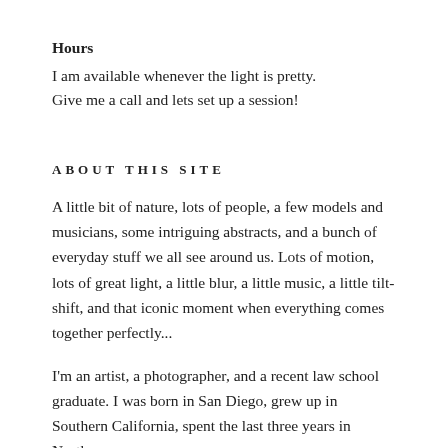Hours
I am available whenever the light is pretty.
Give me a call and lets set up a session!
ABOUT THIS SITE
A little bit of nature, lots of people, a few models and musicians, some intriguing abstracts, and a bunch of everyday stuff we all see around us. Lots of motion, lots of great light, a little blur, a little music, a little tilt-shift, and that iconic moment when everything comes together perfectly...
I'm an artist, a photographer, and a recent law school graduate. I was born in San Diego, grew up in Southern California, spent the last three years in Northern